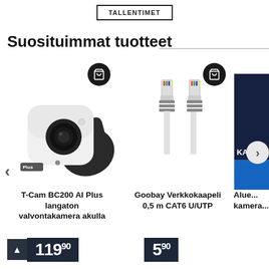TALLENTIMET
Suosituimmat tuotteet
[Figure (photo): T-Cam BC200 AI Plus wireless surveillance camera with battery, white and dark gray body, shown at angle. Dark circular cart icon button in top right.]
[Figure (photo): Goobay network cable 0.5m CAT6 U/UTP, gray ethernet cable with RJ45 connectors on both ends. Dark circular cart icon in top right.]
[Figure (photo): Partially visible product with dark blue/navy packaging, letters 'KA' visible.]
T-Cam BC200 AI Plus langaton valvontakamera akulla
Goobay Verkkokaapeli 0,5 m CAT6 U/UTP
Alue... kamera...
119⁹⁰
5⁹⁰